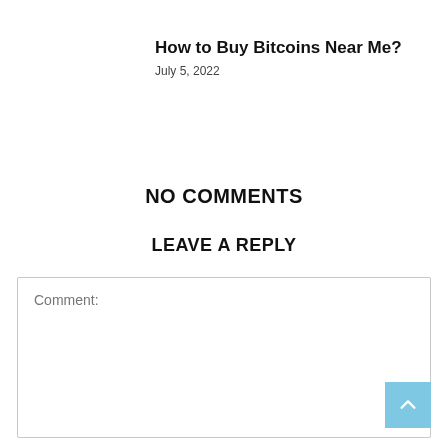How to Buy Bitcoins Near Me?
July 5, 2022
NO COMMENTS
LEAVE A REPLY
Comment: